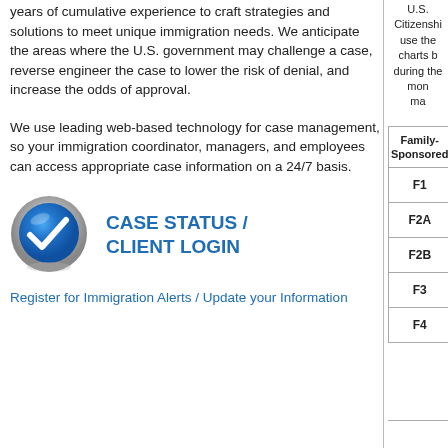years of cumulative experience to craft strategies and solutions to meet unique immigration needs. We anticipate the areas where the U.S. government may challenge a case, reverse engineer the case to lower the risk of denial, and increase the odds of approval.
We use leading web-based technology for case management, so your immigration coordinator, managers, and employees can access appropriate case information on a 24/7 basis.
[Figure (illustration): Blue circular checkmark icon with metallic ring and reflection]
CASE STATUS / CLIENT LOGIN
Register for Immigration Alerts / Update your Information
U.S. Citizenshi... use the charts b... during the mon... ma...
| Family-Sponsored |
| --- |
| F1 |
| F2A |
| F2B |
| F3 |
| F4 |